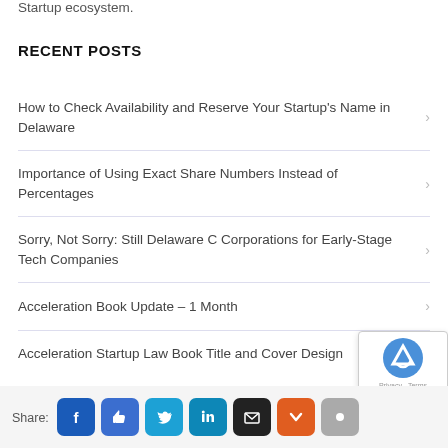Startup ecosystem.
RECENT POSTS
How to Check Availability and Reserve Your Startup's Name in Delaware
Importance of Using Exact Share Numbers Instead of Percentages
Sorry, Not Sorry: Still Delaware C Corporations for Early-Stage Tech Companies
Acceleration Book Update – 1 Month
Acceleration Startup Law Book Title and Cover Design
Share: